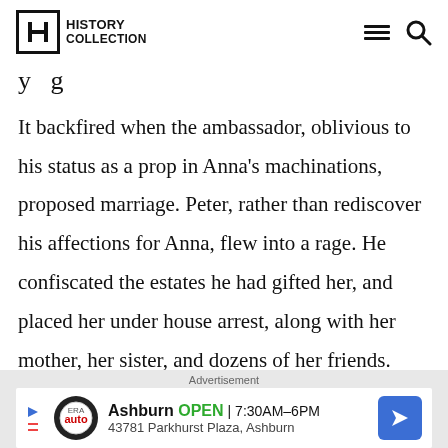History Collection
It backfired when the ambassador, oblivious to his status as a prop in Anna’s machinations, proposed marriage. Peter, rather than rediscover his affections for Anna, flew into a rage. He confiscated the estates he had gifted her, and placed her under house arrest, along with her mother, her sister, and dozens of her friends.
Advertisement
Ashburn OPEN 7:30AM–6PM
43781 Parkhurst Plaza, Ashburn